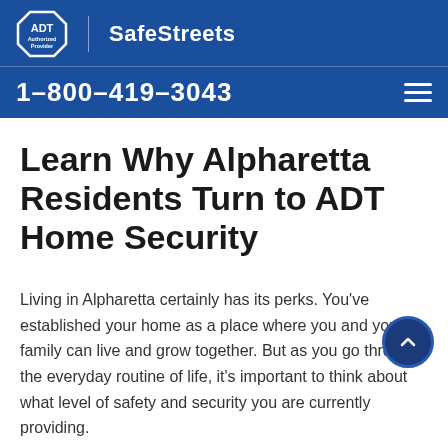ADT Authorized Provider | SafeStreets
1-800-419-3043
Learn Why Alpharetta Residents Turn to ADT Home Security
Living in Alpharetta certainly has its perks. You've established your home as a place where you and your family can live and grow together. But as you go through the everyday routine of life, it's important to think about what level of safety and security you are currently providing.
With ADT Home Securiy in Alpharetta, you can feel